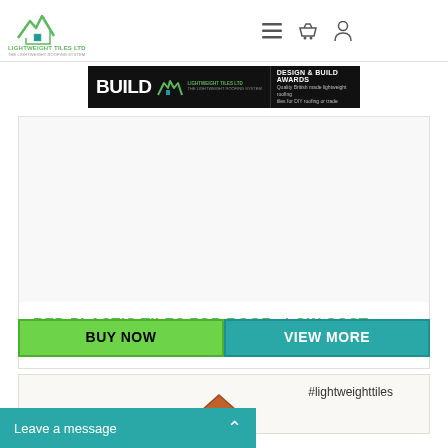[Figure (logo): Lightweight Tiles Ltd logo with green house/mountain icon and text 'THE LIGHTWEIGHT ROOFING SYSTEM']
[Figure (photo): Dark brown corrugated metal/plastic roof tiles texture in top-right corner]
[Figure (screenshot): BUILD Design & Build Awards banner with Lightweight Tiles Ltd logo]
[Figure (photo): Product image area for red plastic roof tiles (white/empty product photo area)]
RED PLASTIC TILES FOR ROOF - LOW COST
£8.29
BUY NOW
VIEW MORE
#lightweighttiles
Leave a message